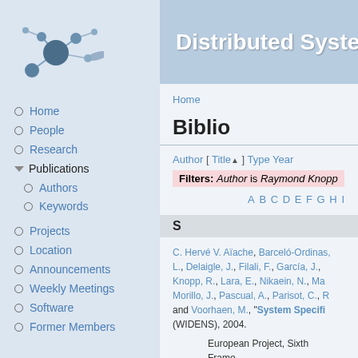[Figure (logo): Network/distributed systems logo with nodes and connections]
Distributed Systems Gr
Home
Home
People
Research
Publications
Authors
Keywords
Projects
Location
Announcements
Weekly Meetings
Software
Former Members
Biblio
Author [ Title ] Type Year
Filters: Author is Raymond Knopp
A B C D E F G H I
S
C. Hervé V. Aïache, Barceló-Ordinas, L., Delaigle, J., Filali, F., García, J., Knopp, R., Lara, E., Nikaein, N., Ma, Morillo, J., Pascual, A., Parisot, C., R and Voorhaen, M., "System Specifi (WIDENS), 2004.
European Project, Sixth Frame